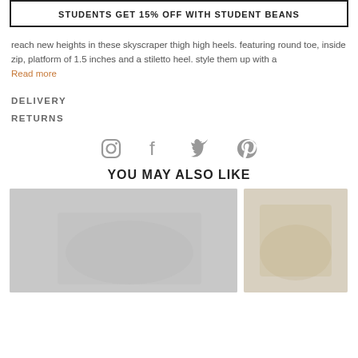STUDENTS GET 15% OFF WITH STUDENT BEANS
reach new heights in these skyscraper thigh high heels. featuring round toe, inside zip, platform of 1.5 inches and a stiletto heel. style them up with a
Read more
DELIVERY
RETURNS
[Figure (infographic): Social media icons: Instagram, Facebook, Twitter, Pinterest in grey]
YOU MAY ALSO LIKE
[Figure (photo): Product photo of silver/embellished heeled sandals on a model's feet, left side]
[Figure (photo): Product photo of gold strappy heeled sandals on a model's feet, right side]